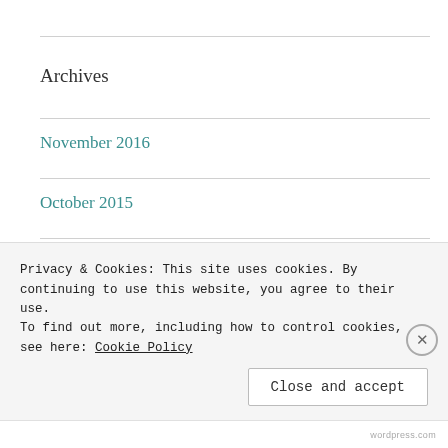Archives
November 2016
October 2015
February 2015
January 2015
September 2014
Privacy & Cookies: This site uses cookies. By continuing to use this website, you agree to their use.
To find out more, including how to control cookies, see here: Cookie Policy
Close and accept